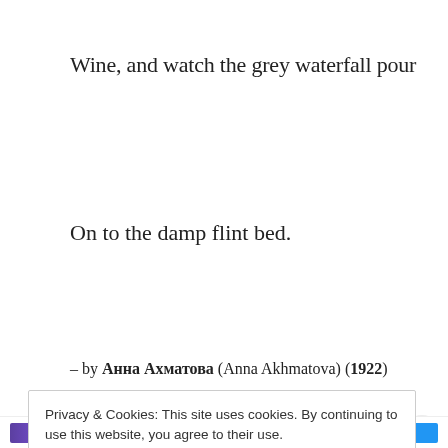Wine, and watch the grey waterfall pour
On to the damp flint bed.
– by Анна Ахматова (Anna Akhmatova) (1922)
Privacy & Cookies: This site uses cookies. By continuing to use this website, you agree to their use.
To find out more, including how to control cookies, see here: Cookie Policy
Close and accept